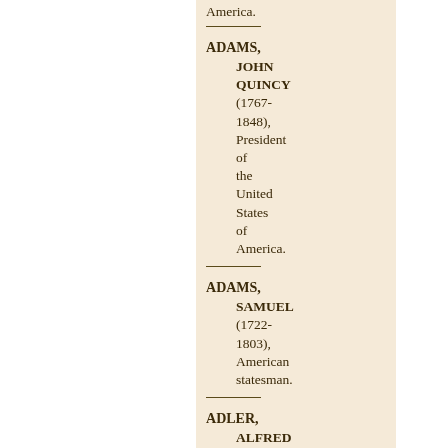America.
Adams, John Quincy (1767-1848), President of the United States of America.
Adams, Samuel (1722-1803), American statesman.
Adler, Alfred (1870-1937),